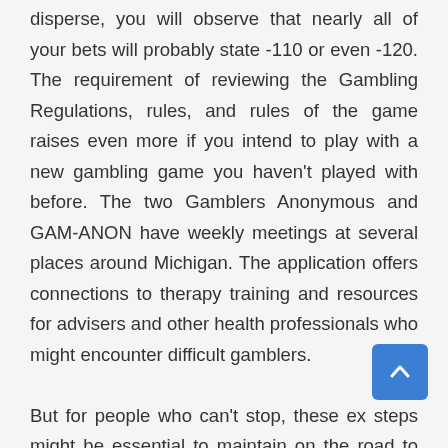disperse, you will observe that nearly all of your bets will probably state -110 or even -120. The requirement of reviewing the Gambling Regulations, rules, and rules of the game raises even more if you intend to play with a new gambling game you haven't played with before. The two Gamblers Anonymous and GAM-ANON have weekly meetings at several places around Michigan. The application offers connections to therapy training and resources for advisers and other health professionals who might encounter difficult gamblers.

But for people who can't stop, these ex steps might be essential to maintain on the road to healing. However, is that Party